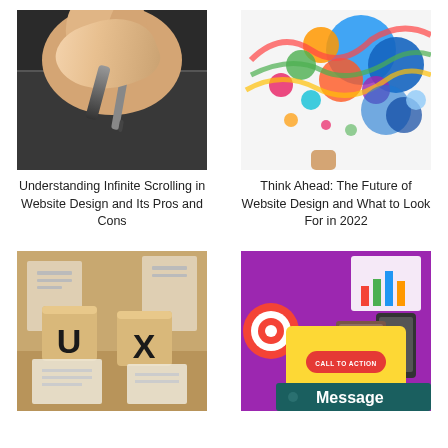[Figure (photo): Close-up of a hand holding a stylus pen on a dark trackpad surface]
[Figure (illustration): Colorful abstract illustration with bubbles, circles and swirling shapes in multiple colors]
Understanding Infinite Scrolling in Website Design and Its Pros and Cons
Think Ahead: The Future of Website Design and What to Look For in 2022
[Figure (photo): Wooden letter tiles spelling U and X on a light wooden surface with paper wireframe sketches]
[Figure (screenshot): Screenshot of a website design with purple background, yellow tablet showing Call to Action button, and a teal Message bar]